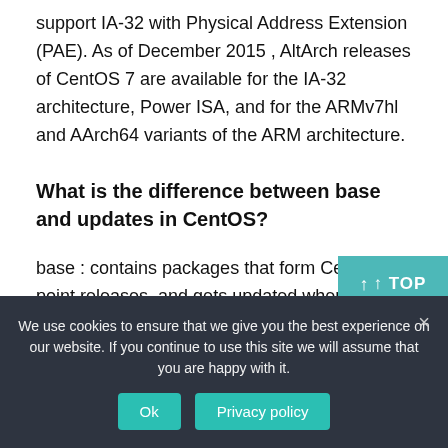support IA-32 with Physical Address Extension (PAE). As of December 2015 , AltArch releases of CentOS 7 are available for the IA-32 architecture, Power ISA, and for the ARMv7hl and AArch64 variants of the ARM architecture.
What is the difference between base and updates in CentOS?
base : contains packages that form CentOS point releases, and gets updated when the actual point release is…
We use cookies to ensure that we give you the best experience on our website. If you continue to use this site we will assume that you are happy with it.
Ok
Privacy policy